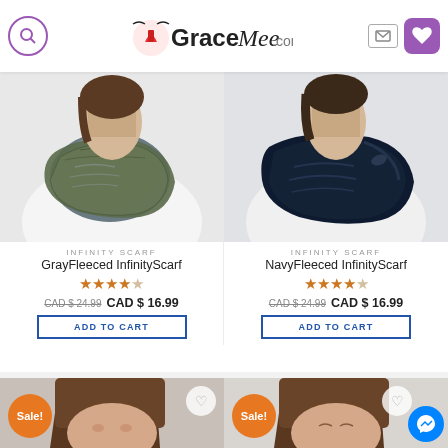GraceMee.com
[Figure (photo): Gray fleeced infinity scarf product photo - person wearing gray/olive knit scarf with fleece lining]
[Figure (photo): Navy fleeced infinity scarf product photo - person wearing dark navy plush scarf]
INFINITY SCARF
GrayFleeced InfinityScarf
★★★★☆
CAD $ 24.99  CAD $ 16.99
INFINITY SCARF
NavyFleeced InfinityScarf
★★★★☆
CAD $ 24.99  CAD $ 16.99
ADD TO CART
ADD TO CART
[Figure (photo): Woman with brown hair wearing red top - Sale badge visible]
[Figure (photo): Woman with brown hair - Sale badge visible, messenger chat button in bottom right]